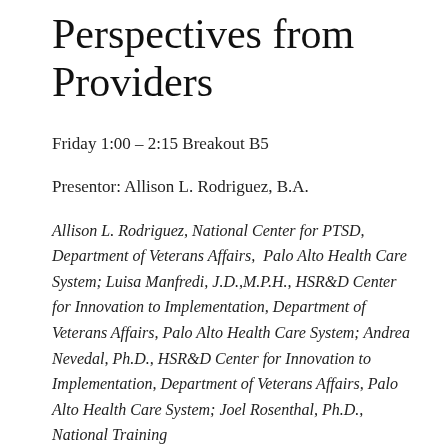Perspectives from Providers
Friday 1:00 – 2:15 Breakout B5
Presentor: Allison L. Rodriguez, B.A.
Allison L. Rodriguez, National Center for PTSD, Department of Veterans Affairs,  Palo Alto Health Care System; Luisa Manfredi, J.D.,M.P.H., HSR&D Center for Innovation to Implementation, Department of Veterans Affairs, Palo Alto Health Care System; Andrea Nevedal, Ph.D., HSR&D Center for Innovation to Implementation, Department of Veterans Affairs, Palo Alto Health Care System; Joel Rosenthal, Ph.D., National Training